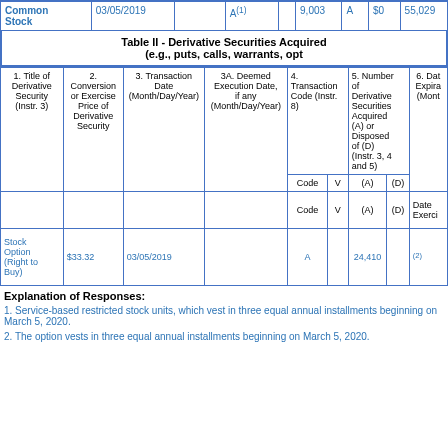| 1. Title of Security (Instr. 3) | 2. Transaction Date (Month/Day/Year) | 3. Transaction Code (Instr. 8) | 4. Securities Acquired (A) or Disposed of (D) (Instr. 3, 4 and 5) | 5. Amount of Securities Beneficially Owned Following Reported Transaction(s) (Instr. 3 and 4) | 6. Ownership Form: Direct (D) or Indirect (I) (Instr. 4) | 7. Nature of Indirect Beneficial Ownership (Instr. 4) | 8. Price of Securities |
| --- | --- | --- | --- | --- | --- | --- | --- |
| Common Stock | 03/05/2019 |  | A(1) | 9,003 | A | $0 | 55,029 |
Table II - Derivative Securities Acquired (e.g., puts, calls, warrants, opt
| 1. Title of Derivative Security (Instr. 3) | 2. Conversion or Exercise Price of Derivative Security | 3. Transaction Date (Month/Day/Year) | 3A. Deemed Execution Date, if any (Month/Day/Year) | 4. Transaction Code (Instr. 8) Code | 4. Transaction Code (Instr. 8) V | 5. Number of Derivative Securities Acquired (A) or Disposed of (D) (Instr. 3, 4 and 5) (A) | 5. Number of Derivative Securities Acquired (A) or Disposed of (D) (Instr. 3, 4 and 5) (D) | 6. Date Expiration (Month |
| --- | --- | --- | --- | --- | --- | --- | --- | --- |
| Stock Option (Right to Buy) | $33.32 | 03/05/2019 |  | A |  | 24,410 |  | (2) |
Explanation of Responses:
1. Service-based restricted stock units, which vest in three equal annual installments beginning on March 5, 2020.
2. The option vests in three equal annual installments beginning on March 5, 2020.